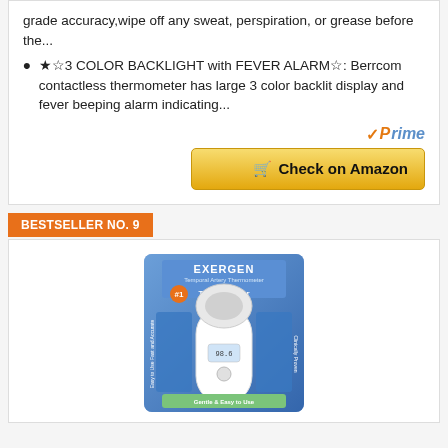grade accuracy,wipe off any sweat, perspiration, or grease before the...
★☆3 COLOR BACKLIGHT with FEVER ALARM☆: Berrcom contactless thermometer has large 3 color backlit display and fever beeping alarm indicating...
[Figure (logo): Amazon Prime logo with orange checkmark and blue 'Prime' text]
Check on Amazon
BESTSELLER NO. 9
[Figure (photo): Exergen temporal artery thermometer product in blue packaging, labeled 'The #1 Thermometer']